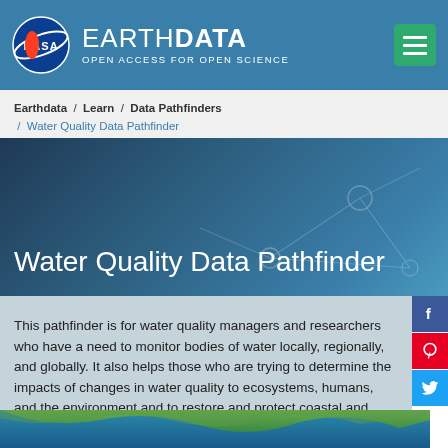EARTHDATA OPEN ACCESS FOR OPEN SCIENCE
Earthdata / Learn / Data Pathfinders / Water Quality Data Pathfinder
Water Quality Data Pathfinder
This pathfinder is for water quality managers and researchers who have a need to monitor bodies of water locally, regionally, and globally. It also helps those who are trying to determine the impacts of changes in water quality to ecosystems, humans, and the environment and to restore and protect coastal and surface waters.
[Figure (photo): Satellite aerial view of coastal and surface waters from space, showing green land and blue ocean]